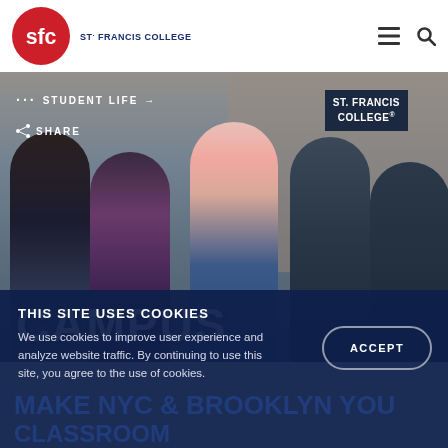St Francis College
[Figure (photo): Four college students walking together and smiling in front of St. Francis College building entrance. Student Life navigation link and Share button overlaid. CAMPUS title at bottom of image.]
CAMPUS
THIS SITE USES COOKIES
We use cookies to improve user experience and analyze website traffic. By continuing to use this site, you agree to the use of cookies.
ACCEPT
MAKE NYC & BROOKLYN YOUR CLASSROOM